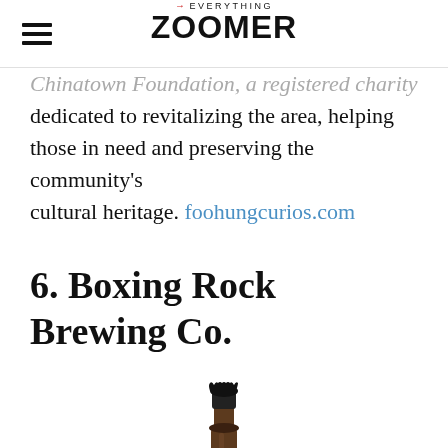→EVERYTHING ZOOMER
Chinatown Foundation, a registered charity dedicated to revitalizing the area, helping those in need and preserving the community's cultural heritage. foohungcurios.com
6. Boxing Rock Brewing Co.
[Figure (photo): Top of a dark beer bottle with a black crown cap, on a white background, cropped to show just the neck and cap.]